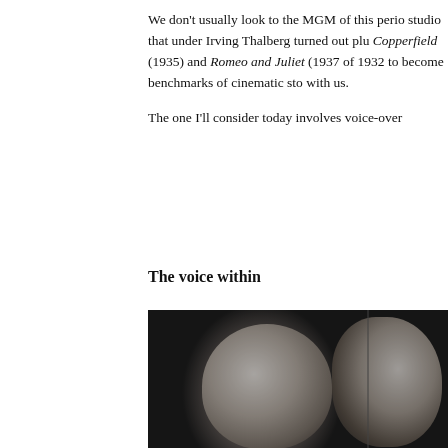We don't usually look to the MGM of this period as a studio that under Irving Thalberg turned out plush David Copperfield (1935) and Romeo and Juliet (1937) of 1932 to become benchmarks of cinematic storytelling still with us.
The one I'll consider today involves voice-over
The voice within
[Figure (photo): Black and white film still showing two men's faces — one facing forward on the left, one in profile on the right, separated by a vertical line, dark cinematic lighting.]